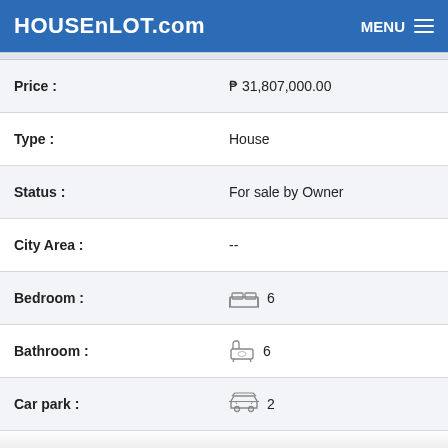HOUSEnLOT.com
| Field | Value |
| --- | --- |
| Price : | ₱ 31,807,000.00 |
| Type : | House |
| Status : | For sale by Owner |
| City Area : | -- |
| Bedroom : | 6 |
| Bathroom : | 6 |
| Car park : | 2 |
| Size : | 292 m² |
| Project/Subdivision : | Portofino Heights |
| Developer : | Vista Land Company |
| Available from : | April 3, 2017 |